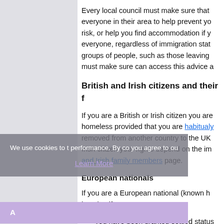Every local council must make sure that everyone in their area to help prevent yo risk, or help you find accommodation if y everyone, regardless of immigration stat groups of people, such as those leaving must make sure can access this advice a
British and Irish citizens and their f
If you are a British or Irish citizen you are homeless provided that you are habitualb removed from another country to the UK Irish citizen your rights depend on the im and Irish family members page.
European nationals
If you are a European national (known h housing if:
you have been granted settled status